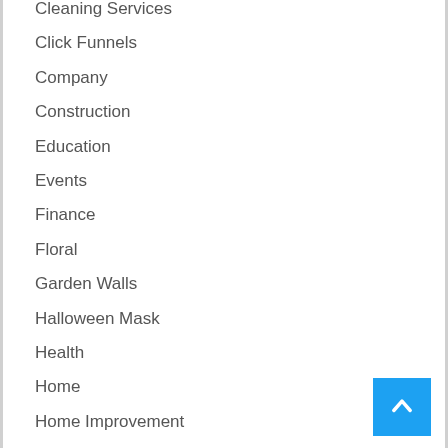Cleaning Services
Click Funnels
Company
Construction
Education
Events
Finance
Floral
Garden Walls
Halloween Mask
Health
Home
Home Improvement